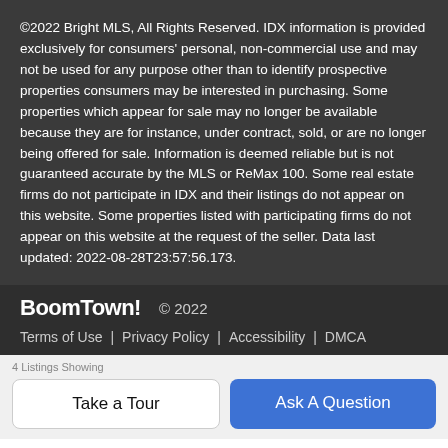©2022 Bright MLS, All Rights Reserved. IDX information is provided exclusively for consumers' personal, non-commercial use and may not be used for any purpose other than to identify prospective properties consumers may be interested in purchasing. Some properties which appear for sale may no longer be available because they are for instance, under contract, sold, or are no longer being offered for sale. Information is deemed reliable but is not guaranteed accurate by the MLS or ReMax 100. Some real estate firms do not participate in IDX and their listings do not appear on this website. Some properties listed with participating firms do not appear on this website at the request of the seller. Data last updated: 2022-08-28T23:57:56.173.
BoomTown! © 2022 | Terms of Use | Privacy Policy | Accessibility | DMCA
Take a Tour | Ask A Question